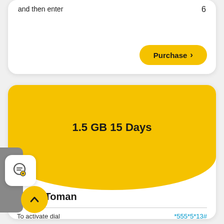and then enter
6
Purchase >
1.5 GB  15 Days
1_,500 Toman
To activate dial
*555*5*13#
and then enter
1